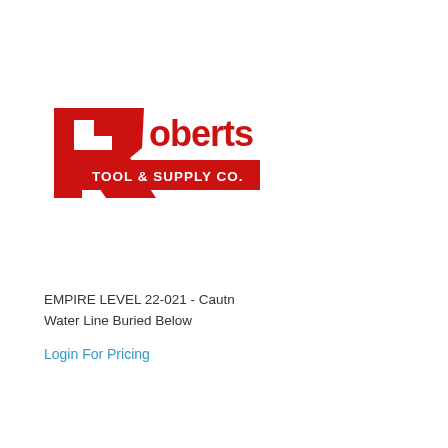[Figure (logo): Roberts Tool & Supply Co. logo — red stylized R with white cutout, 'Roberts' in bold red text, 'TOOL & SUPPLY CO.' in white text on red banner]
EMPIRE LEVEL 22-021 - Cautn Water Line Buried Below
Login For Pricing